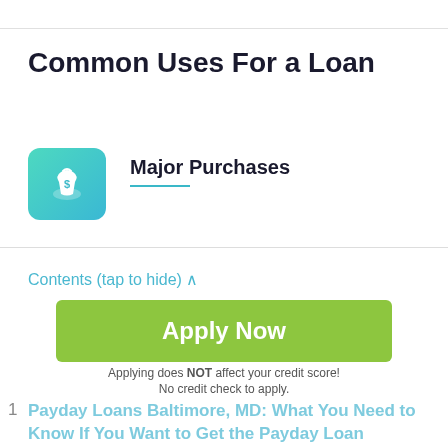Common Uses For a Loan
Major Purchases
Home Improvements
Contents (tap to hide)
Apply Now
Applying does NOT affect your credit score! No credit check to apply.
1  Payday Loans Baltimore, MD: What You Need to Know If You Want to Get the Payday Loan